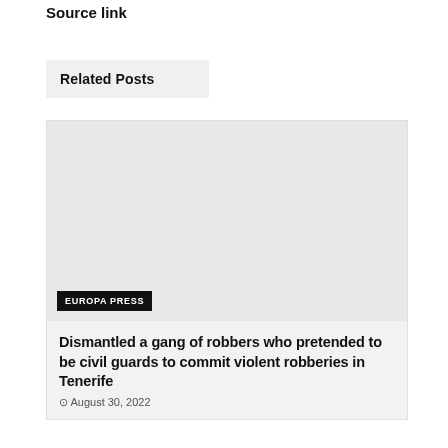Source link
Related Posts
[Figure (photo): Gray placeholder image for a related post card with EUROPA PRESS badge overlay]
Dismantled a gang of robbers who pretended to be civil guards to commit violent robberies in Tenerife
August 30, 2022